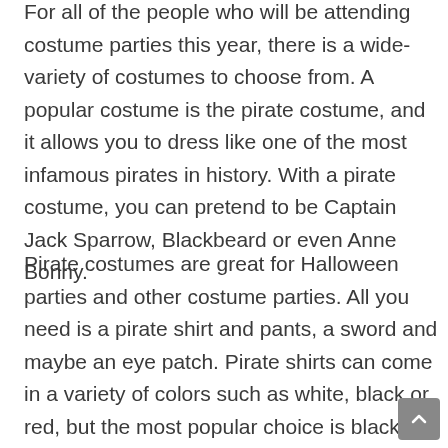For all of the people who will be attending costume parties this year, there is a wide-variety of costumes to choose from. A popular costume is the pirate costume, and it allows you to dress like one of the most infamous pirates in history. With a pirate costume, you can pretend to be Captain Jack Sparrow, Blackbeard or even Anne Bonny.
Pirate costumes are great for Halloween parties and other costume parties. All you need is a pirate shirt and pants, a sword and maybe an eye patch. Pirate shirts can come in a variety of colors such as white, black or red, but the most popular choice is black. Pirate pants can also come in many different colors and usually come in polyester or cotton-poly blends. A pirate hat and boots are always nice additions to